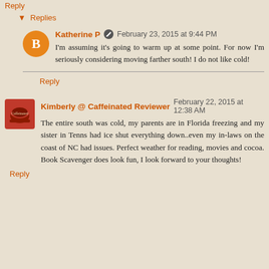Reply
Replies
Katherine P  February 23, 2015 at 9:44 PM
I'm assuming it's going to warm up at some point. For now I'm seriously considering moving farther south! I do not like cold!
Reply
Kimberly @ Caffeinated Reviewer  February 22, 2015 at 12:38 AM
The entire south was cold, my parents are in Florida freezing and my sister in Tenns had ice shut everything down..even my in-laws on the coast of NC had issues. Perfect weather for reading, movies and cocoa. Book Scavenger does look fun, I look forward to your thoughts!
Reply